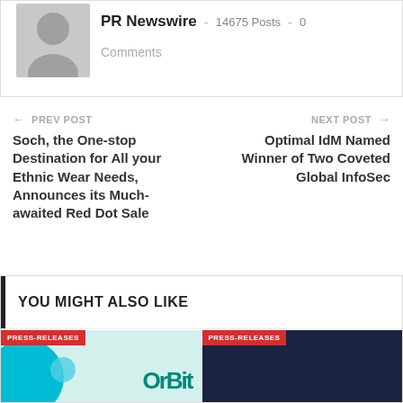[Figure (illustration): Author avatar placeholder - grey silhouette icon on grey background]
PR Newswire  -  14675 Posts  -  0
Comments
← PREV POST
NEXT POST →
Soch, the One-stop Destination for All your Ethnic Wear Needs, Announces its Much-awaited Red Dot Sale
Optimal IdM Named Winner of Two Coveted Global InfoSec
YOU MIGHT ALSO LIKE
PRESS-RELEASES
PRESS-RELEASES